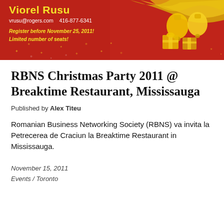[Figure (illustration): Red Christmas banner with golden text 'Viorel Rusu', contact details (vusu@rogers.com, 416-877-6341), registration notice 'Register before November 25, 2011! Limited number of seats!', decorated with golden bells, gifts, ribbon, and snowflake/star motifs on a red background.]
RBNS Christmas Party 2011 @ Breaktime Restaurant, Mississauga
Published by Alex Titeu
Romanian Business Networking Society (RBNS) va invita la Petrecerea de Craciun la Breaktime Restaurant in Mississauga.
November 15, 2011
Events / Toronto